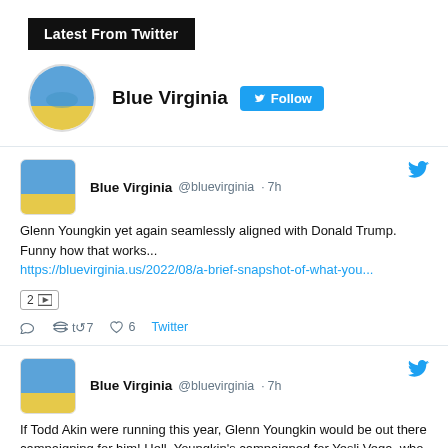Latest From Twitter
Blue Virginia @bluevirginia · Follow
Blue Virginia @bluevirginia · 7h
Glenn Youngkin yet again seamlessly aligned with Donald Trump. Funny how that works...
https://bluevirginia.us/2022/08/a-brief-snapshot-of-what-you...
2 [image] reply retweet 7 like 6 Twitter
Blue Virginia @bluevirginia · 7h
If Todd Akin were running this year, Glenn Youngkin would be out there campaigning for him! Hell, Youngkin's campaigned for Yesli Vega, who said almost the exact same thing Akin did.
https://bluevirginia.us/2022/08/a-brief-snapshot-of-what-you...
h/t @LOLGOP [image]